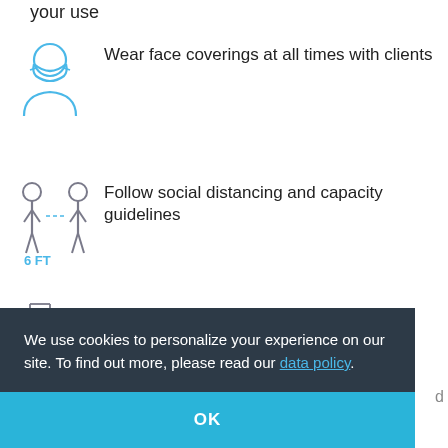your use
Wear face coverings at all times with clients
Follow social distancing and capacity guidelines
Follow CDC standards for cleaning and sanitation
We use cookies to personalize your experience on our site. To find out more, please read our data policy.
OK
VISITING ANGELS